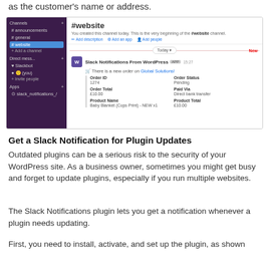as the customer's name or address.
[Figure (screenshot): Slack interface screenshot showing #website channel with a WooCommerce order notification from Slack Notifications From WordPress plugin, displaying order details: Order ID 1274, Order Status Pending, Order Total £10.00, Paid Via Direct bank transfer, Product Name Baby Blanket (Cops Print) - NEW x1, Product Total £10.00]
Get a Slack Notification for Plugin Updates
Outdated plugins can be a serious risk to the security of your WordPress site. As a business owner, sometimes you might get busy and forget to update plugins, especially if you run multiple websites.
The Slack Notifications plugin lets you get a notification whenever a plugin needs updating.
First, you need to install, activate, and set up the plugin, as shown